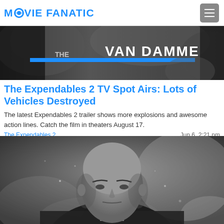MOVIE FANATIC
[Figure (photo): Black and white action movie still showing 'VAN DAMME' text overlay from The Expendables 2]
The Expendables 2 TV Spot Airs: Lots of Vehicles Destroyed
The latest Expendables 2 trailer shows more explosions and awesome action lines. Catch the film in theaters August 17.
The Expendables 2 | Jun 6, 2:21 pm
[Figure (photo): Black and white photo of Bruce Willis as action hero from The Expendables 2, looking intense against smoky background]